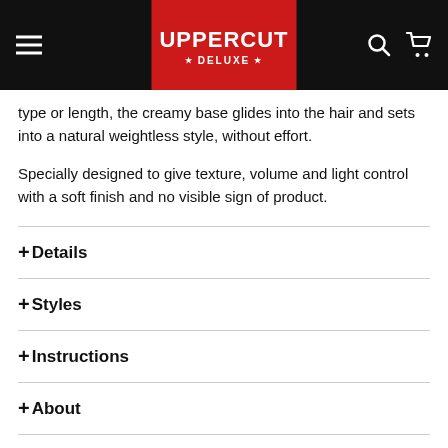UPPERCUT DELUXE
type or length, the creamy base glides into the hair and sets into a natural weightless style, without effort.
Specially designed to give texture, volume and light control with a soft finish and no visible sign of product.
+ Details
+ Styles
+ Instructions
+ About
+ Ingredients